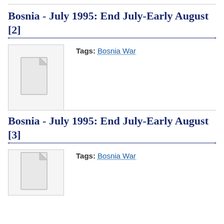Bosnia - July 1995: End July-Early August [2]
Tags: Bosnia War
[Figure (illustration): Generic document icon placeholder image]
Bosnia - July 1995: End July-Early August [3]
Tags: Bosnia War
[Figure (illustration): Generic document icon placeholder image]